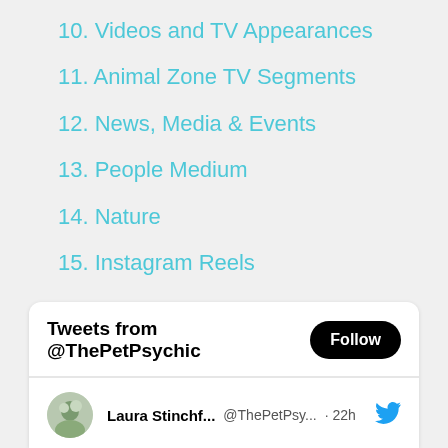10. Videos and TV Appearances
11. Animal Zone TV Segments
12. News, Media & Events
13. People Medium
14. Nature
15. Instagram Reels
[Figure (screenshot): Twitter widget showing 'Tweets from @ThePetPsychic' with a Follow button, and a tweet row showing user Laura Stinchf... @ThePetPsy... · 22h with Twitter bird icon]